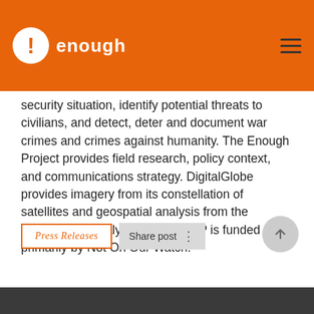enough
security situation, identify potential threats to civilians, and detect, deter and document war crimes and crimes against humanity. The Enough Project provides field research, policy context, and communications strategy. DigitalGlobe provides imagery from its constellation of satellites and geospatial analysis from the DigitalGlobe Analysis Center. SSP is funded primarily by Not On Our Watch.
Press Releases
Share post